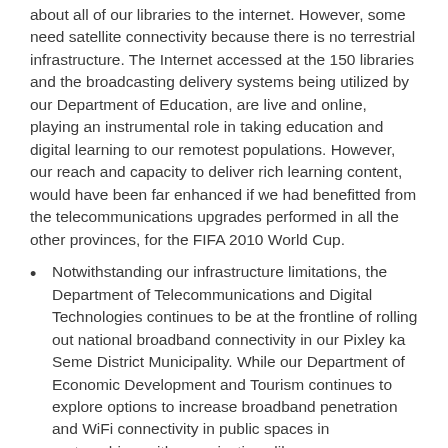about all of our libraries to the internet. However, some need satellite connectivity because there is no terrestrial infrastructure. The Internet accessed at the 150 libraries and the broadcasting delivery systems being utilized by our Department of Education, are live and online, playing an instrumental role in taking education and digital learning to our remotest populations. However, our reach and capacity to deliver rich learning content, would have been far enhanced if we had benefitted from the telecommunications upgrades performed in all the other provinces, for the FIFA 2010 World Cup.
Notwithstanding our infrastructure limitations, the Department of Telecommunications and Digital Technologies continues to be at the frontline of rolling out national broadband connectivity in our Pixley ka Seme District Municipality. While our Department of Economic Development and Tourism continues to explore options to increase broadband penetration and WiFi connectivity in public spaces in partnerships, with organizations like